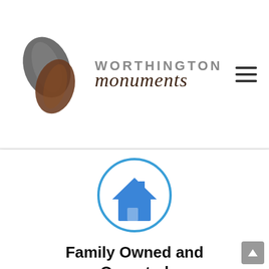[Figure (logo): Worthington Monuments logo with two leaf shapes (one dark gray, one brown) and text 'WORTHINGTON monuments' in gray/dark brown]
[Figure (illustration): Blue home/house icon inside a blue circle outline]
Family Owned and Operated
Worthington Monuments, Inc. is a family owned and operated business established in 2000 by husband and